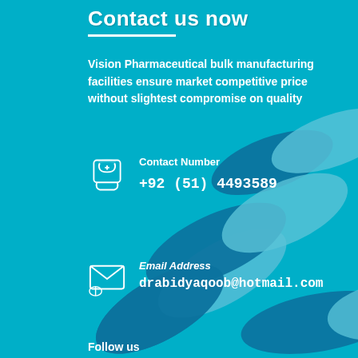Contact us now
Vision Pharmaceutical bulk manufacturing facilities ensure market competitive price without slightest compromise on quality
[Figure (photo): Pharmaceutical capsules (blue and white pill capsules) on a teal/cyan background with teal color overlay]
Contact Number
+92 (51) 4493589
Email Address
drabidyaqoob@hotmail.com
Follow us